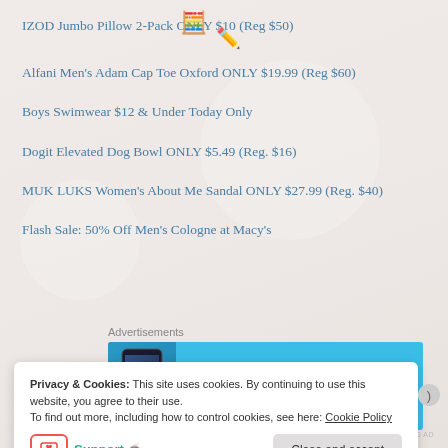IZOD Jumbo Pillow 2-Pack ONLY $10 (Reg $50)
Alfani Men's Adam Cap Toe Oxford ONLY $19.99 (Reg $60)
Boys Swimwear $12 & Under Today Only
Dogit Elevated Dog Bowl ONLY $5.49 (Reg. $16)
MUK LUKS Women's About Me Sandal ONLY $27.99 (Reg. $40)
Flash Sale: 50% Off Men's Cologne at Macy's
Advertisements
[Figure (other): DayOne app advertisement banner with phone mockup. Text: 'Your Journal for life' with DayOne logo.]
REPORT THIS AD
Privacy & Cookies: This site uses cookies. By continuing to use this website, you agree to their use.
To find out more, including how to control cookies, see here: Cookie Policy
Support 🍵
Close and accept